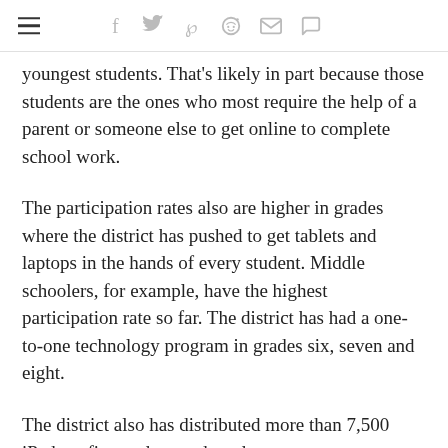Navigation and social share icons
youngest students. That’s likely in part because those students are the ones who most require the help of a parent or someone else to get online to complete school work.
The participation rates also are higher in grades where the district has pushed to get tablets and laptops in the hands of every student. Middle schoolers, for example, have the highest participation rate so far. The district has had a one-to-one technology program in grades six, seven and eight.
The district also has distributed more than 7,500 iPads to first and second graders.